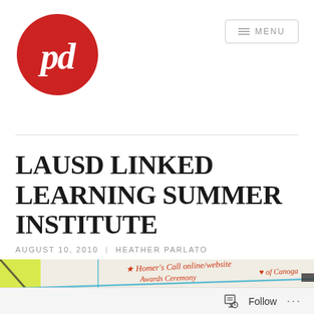[Figure (logo): Red circular logo with white handwritten 'pd' text]
≡ MENU
LAUSD LINKED LEARNING SUMMER INSTITUTE
AUGUST 10, 2010 | HEATHER PARLATO
[Figure (photo): Whiteboard or flipchart with handwritten notes in red and blue including 'Homers Call online/website Awards Ceremony of Canoga' and 'Becoming an Asset for Others' with yellow sticky note on left side]
Follow ...